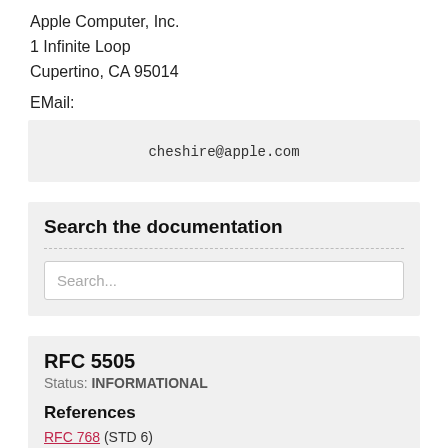Apple Computer, Inc.
1 Infinite Loop
Cupertino, CA 95014
EMail:
cheshire@apple.com
Search the documentation
Search...
RFC 5505
Status: INFORMATIONAL
References
RFC 768 (STD 6)
RFC 1001